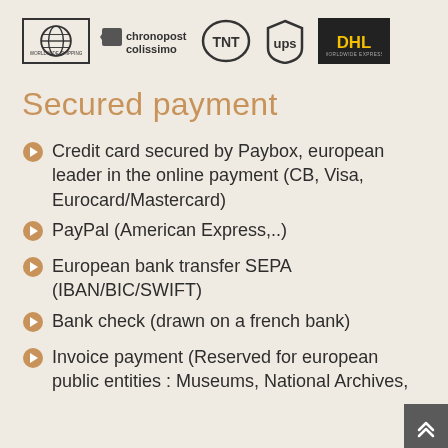[Figure (logo): Row of shipping carrier logos: Worldwide Shipping globe logo, Chronopost Colissimo, TNT, UPS, DHL]
Secured payment
Credit card secured by Paybox, european leader in the online payment (CB, Visa, Eurocard/Mastercard)
PayPal (American Express,..)
European bank transfer SEPA (IBAN/BIC/SWIFT)
Bank check (drawn on a french bank)
Invoice payment (Reserved for european public entities : Museums, National Archives,